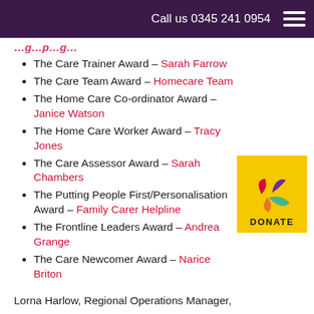Call us 0345 241 0954
The Care Trainer Award – Sarah Farrow
The Care Team Award – Homecare Team
The Home Care Co-ordinator Award – Janice Watson
The Home Care Worker Award – Tracy Jones
The Care Assessor Award – Sarah Chambers
The Putting People First/Personalisation Award – Family Carer Helpline
The Frontline Leaders Award – Andrea Grange
The Care Newcomer Award – Narice Briton
Lorna Harlow, Regional Operations Manager,